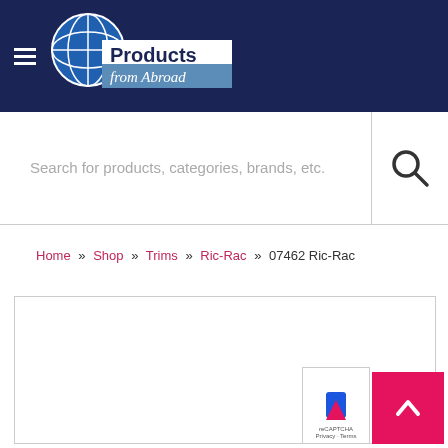[Figure (logo): Products from Abroad logo — globe icon with 'Products from Abroad' text on dark navy header bar]
Search for products, categories, brands, etc.
Home » Shop » Trims » Ric-Rac » 07462 Ric-Rac